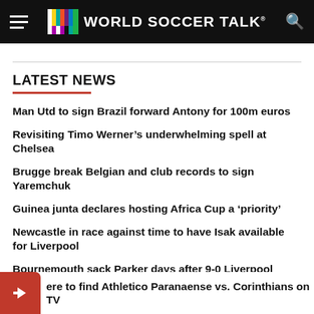WORLD SOCCER TALK
LATEST NEWS
Man Utd to sign Brazil forward Antony for 100m euros
Revisiting Timo Werner's underwhelming spell at Chelsea
Brugge break Belgian and club records to sign Yaremchuk
Guinea junta declares hosting Africa Cup a 'priority'
Newcastle in race against time to have Isak available for Liverpool
Bournemouth sack Parker days after 9-0 Liverpool humiliation
Where to find Athletico Paranaense vs. Corinthians on TV